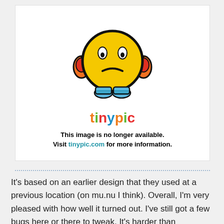[Figure (illustration): Tinypic 'image no longer available' placeholder showing a sad yellow emoji face with orange headphones and blue shoes, with the tinypic logo and message: This image is no longer available. Visit tinypic.com for more information.]
It's based on an earlier design that they used at a previous location (on mu.nu I think). Overall, I'm very pleased with how well it turned out. I've still got a few bugs here or there to tweak. It's harder than